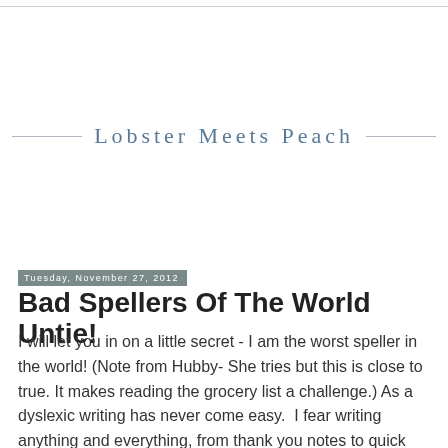Lobster Meets Peach
Tuesday, November 27, 2012
Bad Spellers Of The World Untie!
I will let you in on a little secret - I am the worst speller in the world! (Note from Hubby- She tries but this is close to true. It makes reading the grocery list a challenge.) As a dyslexic writing has never come easy.  I fear writing anything and everything, from thank you notes to quick emails.  I think that is a big part of why it took me so long to start posting.  I did not want all my misspellings and